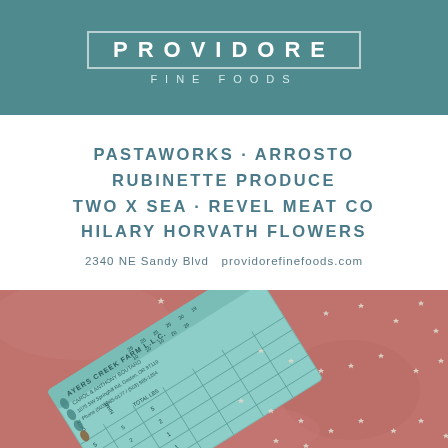[Figure (logo): Providore Fine Foods logo: white text on teal background with rectangle border, 'FINE FOODS' subtitle in small caps]
PASTAWORKS · ARROSTO
RUBINETTE PRODUCE
TWO X SEA · REVEL MEAT CO
HILARY HORVATH FLOWERS
2340 NE Sandy Blvd  providorefinefoods.com
[Figure (photo): Photo of a light teal/mint colored farm record card from Ayers Creek Farm LLC on a pink/rose textured background, surrounded by scattered small white star-shaped seeds/flowers]